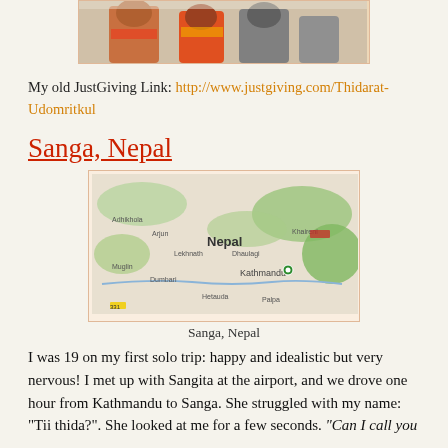[Figure (photo): Partial view of a photo showing people, cropped at top of page]
My old JustGiving Link: http://www.justgiving.com/Thidarat-Udomritkul
Sanga, Nepal
[Figure (map): Map of Nepal showing location of Sanga near Kathmandu, with green highlighted region and a location pin]
Sanga, Nepal
I was 19 on my first solo trip: happy and idealistic but very nervous! I met up with Sangita at the airport, and we drove one hour from Kathmandu to Sanga. She struggled with my name: "Tii thida?". She looked at me for a few seconds. "Can I call you